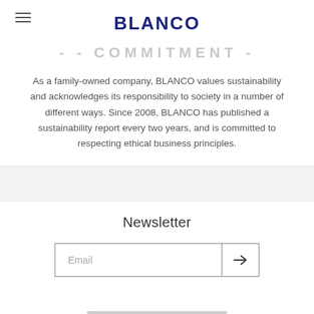BLANCO
COMMITMENT
As a family-owned company, BLANCO values sustainability and acknowledges its responsibility to society in a number of different ways. Since 2008, BLANCO has published a sustainability report every two years, and is committed to respecting ethical business principles.
Newsletter